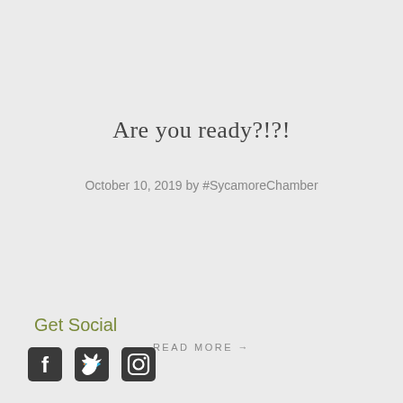Are you ready?!?!
October 10, 2019 by #SycamoreChamber
READ MORE →
Get Social
[Figure (other): Social media icons: Facebook, Twitter, Instagram]